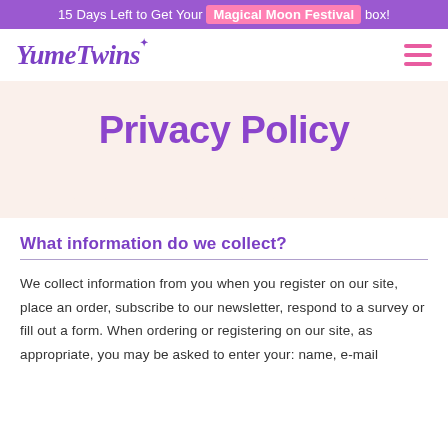15 Days Left to Get Your Magical Moon Festival box!
[Figure (logo): YumeTwins logo in purple italic script with a star, and pink hamburger menu icon on the right]
Privacy Policy
What information do we collect?
We collect information from you when you register on our site, place an order, subscribe to our newsletter, respond to a survey or fill out a form. When ordering or registering on our site, as appropriate, you may be asked to enter your: name, e-mail